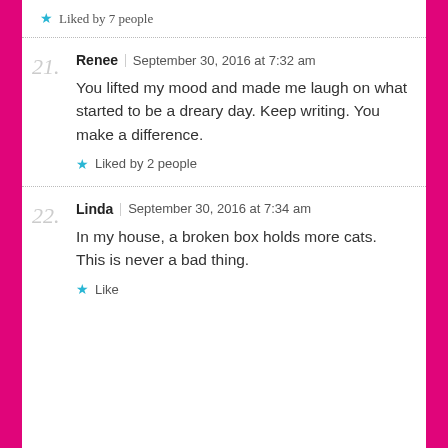Liked by 7 people
21. Renee | September 30, 2016 at 7:32 am
You lifted my mood and made me laugh on what started to be a dreary day. Keep writing. You make a difference.
Liked by 2 people
22. Linda | September 30, 2016 at 7:34 am
In my house, a broken box holds more cats. This is never a bad thing.
Like